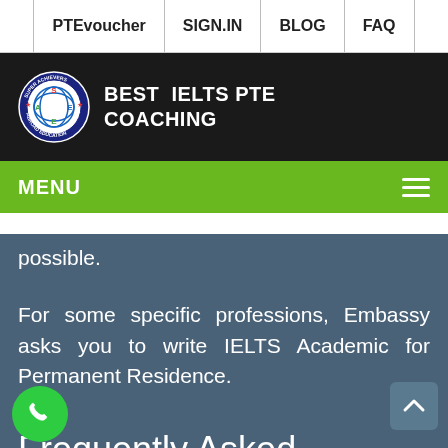PTEvoucher | SIGN.IN | BLOG | FAQ
[Figure (logo): Super Achievers Abroad Education circular logo with S, A, E letters]
BEST IELTS PTE COACHING
MENU
possible.
For some specific professions, Embassy asks you to write IELTS Academic for Permanent Residence.
Frequently Asked Questions
▢ Is IELTS General